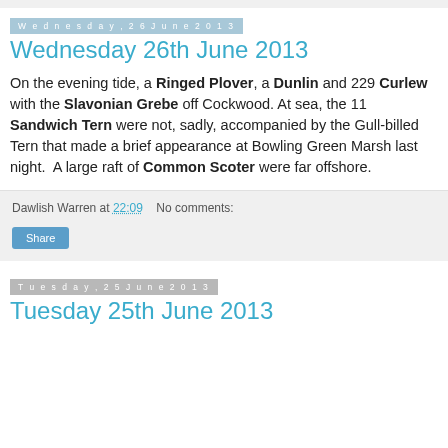Wednesday, 26 June 2013
Wednesday 26th June 2013
On the evening tide, a Ringed Plover, a Dunlin and 229 Curlew with the Slavonian Grebe off Cockwood. At sea, the 11 Sandwich Tern were not, sadly, accompanied by the Gull-billed Tern that made a brief appearance at Bowling Green Marsh last night.  A large raft of Common Scoter were far offshore.
Dawlish Warren at 22:09   No comments:
Tuesday, 25 June 2013
Tuesday 25th June 2013